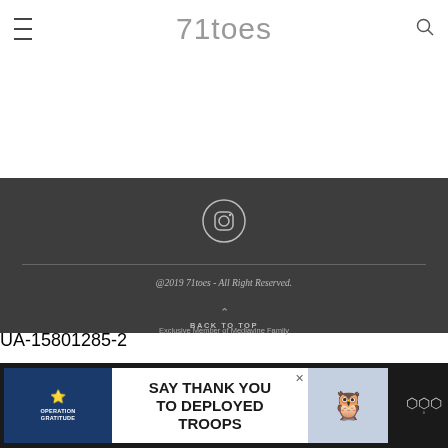71toes
[Figure (logo): Instagram icon in circle on dark background]
@2019 71toes - All Right Reserved.
BACK TO TOP
Exclusive Member of Mediavine Family
UA-15801285-2
[Figure (screenshot): Operation Gratitude advertisement - SAY THANK YOU TO DEPLOYED TROOPS]